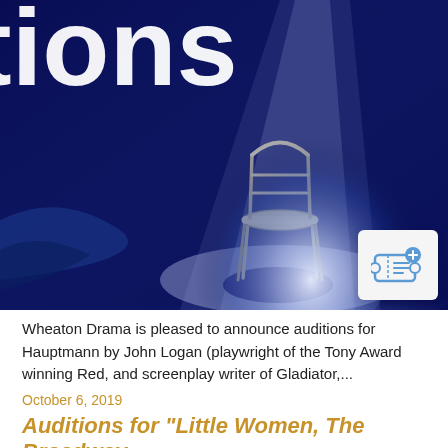[Figure (photo): A dramatic stage photograph showing a single metal chair illuminated by a spotlight on a dark blue stage. Large white text partially visible at the top reads 'tions' (part of 'auditions'). A ticket icon button appears in the bottom-right corner of the image area.]
Wheaton Drama is pleased to announce auditions for Hauptmann by John Logan (playwright of the Tony Award winning Red, and screenplay writer of Gladiator,...
October 6, 2019
Auditions for "Little Women, The Broadway